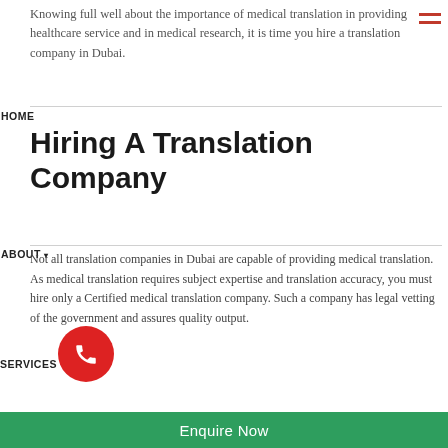Knowing full well about the importance of medical translation in providing healthcare service and in medical research, it is time you hire a translation company in Dubai.
HOME
Hiring A Translation Company
ABOUT
SERVICES
Not all translation companies in Dubai are capable of providing medical translation. As medical translation requires subject expertise and translation accuracy, you must hire only a Certified medical translation company. Such a company has legal vetting of the government and assures quality output.
PORTFOLIO
INDUSTRIES
One such company providing an accurate medical translation in Dubai is International Communication Services-Dubai (ICS-Dubai).
PROCESS
Why ICS-Dubai?
MEDIA
ICS-Dubai has been providing translation services in Dubai for past many years. The company has the vetting of the
CAREER
Enquire Now